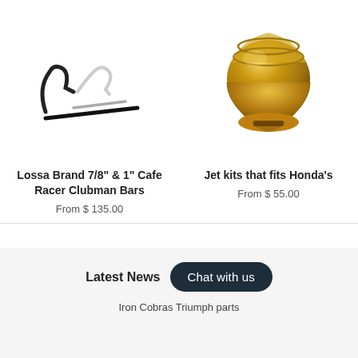[Figure (photo): Photo of Lossa Brand cafe racer clubman handlebar clips/bars, black and chrome metal parts on white background]
[Figure (photo): Photo of a brass jet kit fitting/screw for Honda motorcycles, gold colored metal part]
Lossa Brand 7/8" & 1" Cafe Racer Clubman Bars
From $ 135.00
Jet kits that fits Honda's
From $ 55.00
Latest News
Chat with us
Iron Cobras Triumph parts